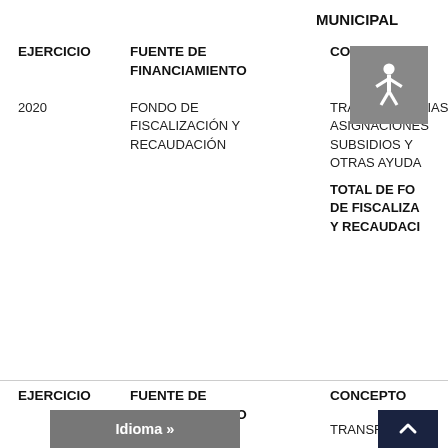MUNICIPAL
| EJERCICIO | FUENTE DE FINANCIAMIENTO | CONCEPTO |
| --- | --- | --- |
| 2020 | FONDO DE FISCALIZACIÓN Y RECAUDACIÓN | TRANSFERENCIAS / ASIGNACIONES / SUBSIDIOS Y OTRAS AYUDAS |
|  |  | TOTAL DE FONDO DE FISCALIZACIÓN Y RECAUDACIÓN |
| EJERCICIO | FUENTE DE FINANCIAMIENTO | CONCEPTO |
| --- | --- | --- |
|  | FONDO DE COMPENSACIÓN | TRANSFERENCIAS... |